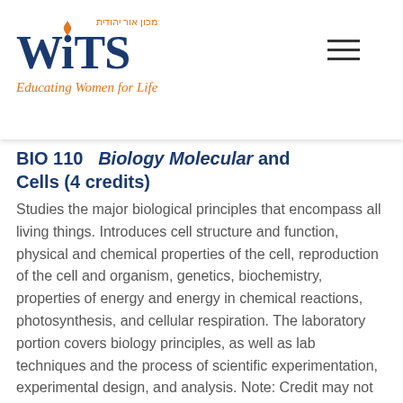WITS – Educating Women for Life
BIO 110 – Biology Molecular and Cells (4 credits)
Studies the major biological principles that encompass all living things. Introduces cell structure and function, physical and chemical properties of the cell, reproduction of the cell and organism, genetics, biochemistry, properties of energy and energy in chemical reactions, photosynthesis, and cellular respiration. The laboratory portion covers biology principles, as well as lab techniques and the process of scientific experimentation, experimental design, and analysis. Note: Credit may not be earned for both BIO 110 and BIO 109. Prerequisite(s): None